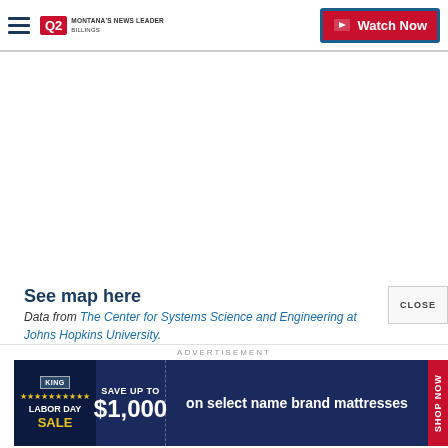Q2 MONTANA'S NEWS LEADER — Watch Now
[Figure (other): Empty white space where a map would be embedded]
See map here
Data from The Center for Systems Science and Engineering at Johns Hopkins University.
ADVERTISEMENT
[Figure (photo): Advertisement banner: KING mattress store — Labor Day SALE — Save up to $1,000 on select name brand mattresses — SHOP NOW]